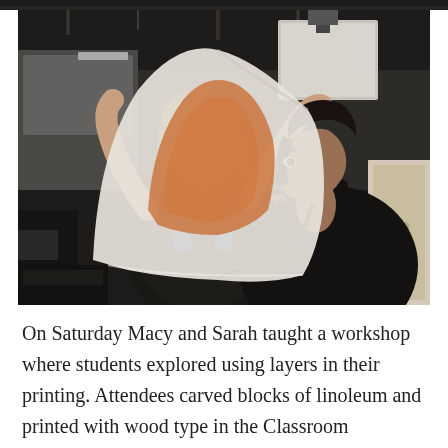[Figure (photo): Two women in a workshop/print studio examining a large curved sheet of paper or linoleum. The woman on the left wears a black patterned top and is holding up the curved sheet. The woman on the right wears a blue apron over a black top and leans in to look. Background shows a print studio with screens, a projector screen, and equipment.]
On Saturday Macy and Sarah taught a workshop where students explored using layers in their printing. Attendees carved blocks of linoleum and printed with wood type in the Classroom Pressroom. Macy and Sarah showed how the vintage blocks can be good inspiration for the start of a